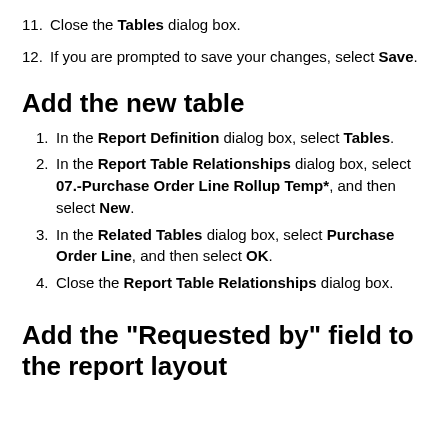11. Close the Tables dialog box.
12. If you are prompted to save your changes, select Save.
Add the new table
1. In the Report Definition dialog box, select Tables.
2. In the Report Table Relationships dialog box, select 07.-Purchase Order Line Rollup Temp*, and then select New.
3. In the Related Tables dialog box, select Purchase Order Line, and then select OK.
4. Close the Report Table Relationships dialog box.
Add the "Requested by" field to the report layout